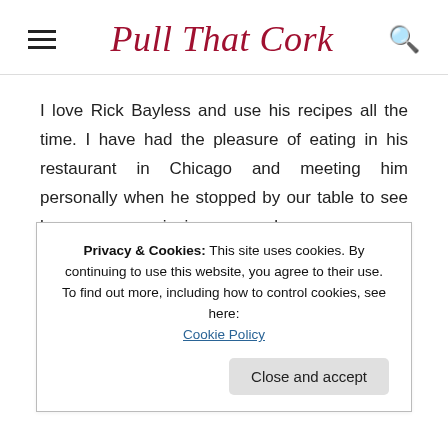Pull That Cork
I love Rick Bayless and use his recipes all the time. I have had the pleasure of eating in his restaurant in Chicago and meeting him personally when he stopped by our table to see how we were enjoying our meal.
★ Loading...
Privacy & Cookies: This site uses cookies. By continuing to use this website, you agree to their use.
To find out more, including how to control cookies, see here: Cookie Policy
Close and accept